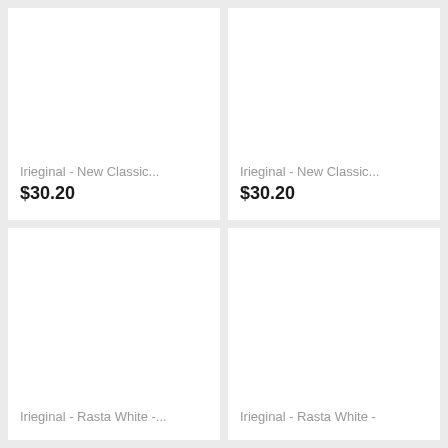[Figure (photo): Product card top-left: white background product image area (blank/white), title 'Irieginal - New Classic...', price '$30.20']
[Figure (photo): Product card top-right: white background product image area (blank/white), title 'Irieginal - New Classic...', price '$30.20']
[Figure (photo): Product card bottom-left: white background product image area (blank/white), title 'Irieginal - Rasta White -...']
[Figure (photo): Product card bottom-right: white background product image area (blank/white), title 'Irieginal - Rasta White -']